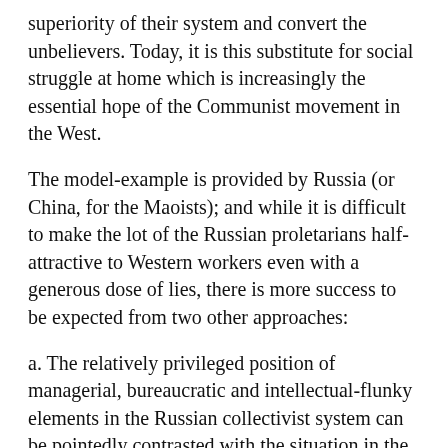superiority of their system and convert the unbelievers. Today, it is this substitute for social struggle at home which is increasingly the essential hope of the Communist movement in the West.
The model-example is provided by Russia (or China, for the Maoists); and while it is difficult to make the lot of the Russian proletarians half-attractive to Western workers even with a generous dose of lies, there is more success to be expected from two other approaches:
a. The relatively privileged position of managerial, bureaucratic and intellectual-flunky elements in the Russian collectivist system can be pointedly contrasted with the situation in the West, where these same elements are subordinated to the owners of capital and manipulators of wealth. At this point the appeal of the Soviet system of statified economy coincides with the historic appeal of middle-class socialisms, to disgruntled class-elements of